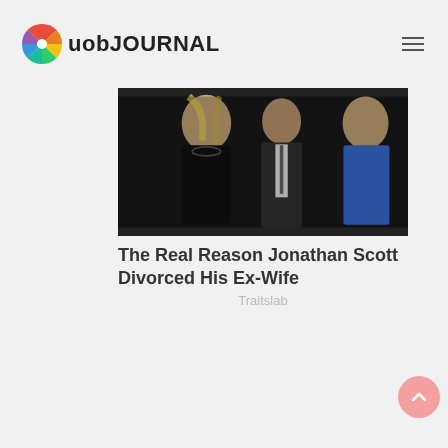uob JOURNAL
[Figure (photo): A man in a dark suit and a woman with blonde hair in a black dress at an event, with another woman in blue in the background]
The Real Reason Jonathan Scott Divorced His Ex-Wife
Traitslab
[Figure (photo): Empty/placeholder image area for celebrity money article]
When You're A Celeb Money Isn't An Issue
Brainberries